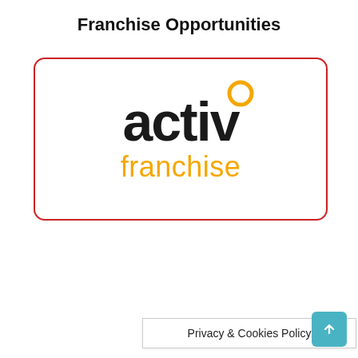Franchise Opportunities
[Figure (logo): Activ Franchise logo: word 'activ' in dark/black large bold text with an orange circle above the 'i', and 'franchise' in orange below, inside a red-bordered rounded rectangle]
Privacy & Cookies Policy